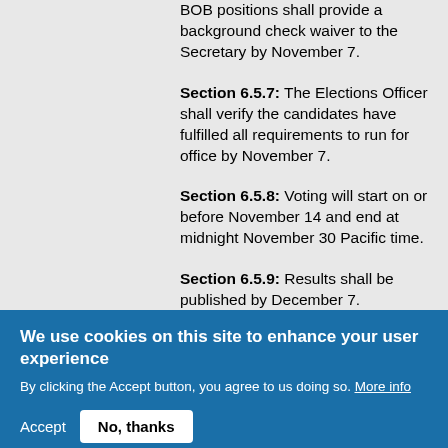BOB positions shall provide a background check waiver to the Secretary by November 7.
Section 6.5.7: The Elections Officer shall verify the candidates have fulfilled all requirements to run for office by November 7.
Section 6.5.8: Voting will start on or before November 14 and end at midnight November 30 Pacific time.
Section 6.5.9: Results shall be published by December 7.
Section 6.5.10: Newly elected officers shall take office on January 1.
We use cookies on this site to enhance your user experience
By clicking the Accept button, you agree to us doing so. More info
Accept  No, thanks